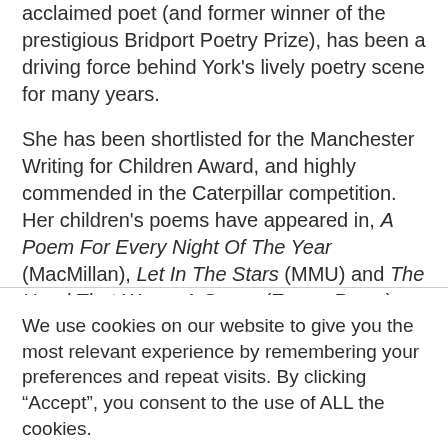acclaimed poet (and former winner of the prestigious Bridport Poetry Prize), has been a driving force behind York's lively poetry scene for many years.
She has been shortlisted for the Manchester Writing for Children Award, and highly commended in the Caterpillar competition. Her children's poems have appeared in, A Poem For Every Night Of The Year (MacMillan), Let In The Stars (MMU) and The Head That Wears A Crown (Emma Press), as well as on the Guardian Children's Books website.
We use cookies on our website to give you the most relevant experience by remembering your preferences and repeat visits. By clicking “Accept”, you consent to the use of ALL the cookies.
Cookie settings
ACCEPT